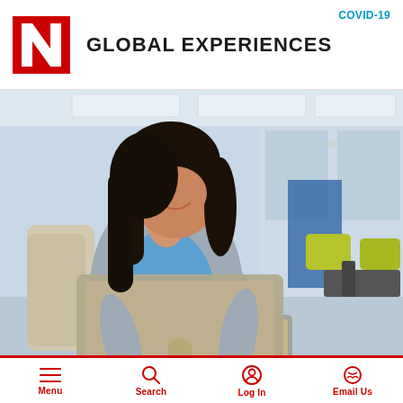COVID-19
GLOBAL EXPERIENCES
[Figure (photo): A young woman with long dark hair, smiling and working on a laptop computer while seated in a patterned chair in a modern office or library setting. She wears a gray cardigan over a blue top. The background shows a bright open-plan space with yellow-green chairs, blue accent walls, and pendant ceiling lights.]
Menu  Search  Log In  Email Us